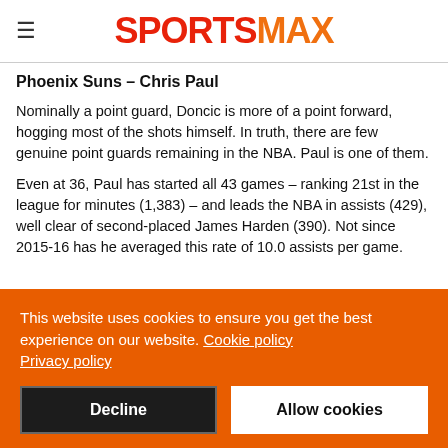SPORTSMAX
Phoenix Suns – Chris Paul
Nominally a point guard, Doncic is more of a point forward, hogging most of the shots himself. In truth, there are few genuine point guards remaining in the NBA. Paul is one of them.
Even at 36, Paul has started all 43 games – ranking 21st in the league for minutes (1,383) – and leads the NBA in assists (429), well clear of second-placed James Harden (390). Not since 2015-16 has he averaged this rate of 10.0 assists per game.
This website uses cookies to ensure you get the best experience on our website. Cookie policy
Privacy policy
Decline
Allow cookies